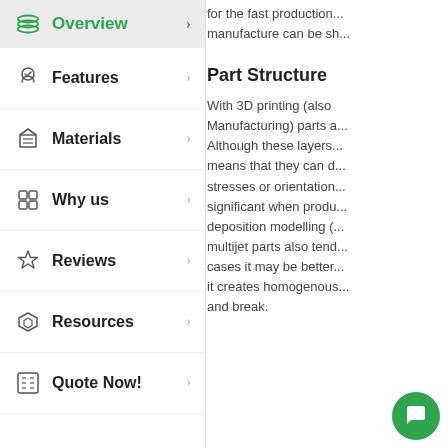Overview
Features
Materials
Why us
Reviews
Resources
Quote Now!
for the fast production... manufacture can be sh...
Part Structure
With 3D printing (also Manufacturing) parts a... Although these layers... means that they can d... stresses or orientation... significant when produ... deposition modelling (... multijet parts also tend... cases it may be better... it creates homogenous... and break.